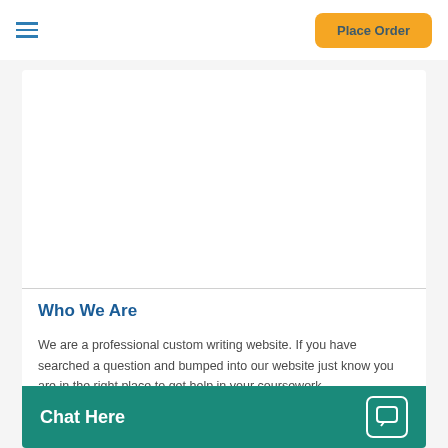Place Order
Who We Are
We are a professional custom writing website. If you have searched a question and bumped into our website just know you are in the right place to get help in your coursework.
Do you handle any type of coursework?
Yes. We have posted our experience. Since
[Figure (screenshot): Chat Here widget at the bottom of the page — teal background with white text 'Chat Here' and a chat icon on the right]